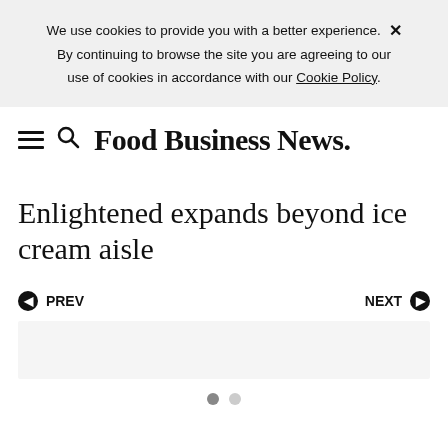We use cookies to provide you with a better experience. ✕ By continuing to browse the site you are agreeing to our use of cookies in accordance with our Cookie Policy.
Food Business News
Enlightened expands beyond ice cream aisle
◀ PREV    NEXT ▶